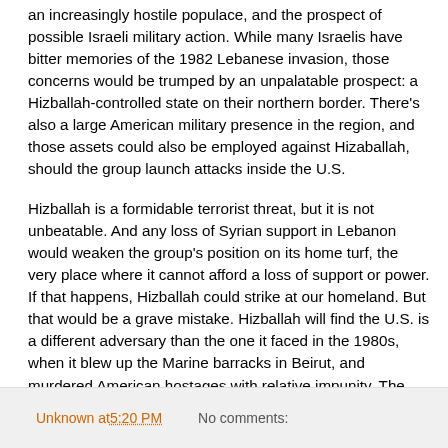an increasingly hostile populace, and the prospect of possible Israeli military action. While many Israelis have bitter memories of the 1982 Lebanese invasion, those concerns would be trumped by an unpalatable prospect: a Hizballah-controlled state on their northern border. There's also a large American military presence in the region, and those assets could also be employed against Hizaballah, should the group launch attacks inside the U.S.
Hizballah is a formidable terrorist threat, but it is not unbeatable. And any loss of Syrian support in Lebanon would weaken the group's position on its home turf, the very place where it cannot afford a loss of support or power. If that happens, Hizballah could strike at our homeland. But that would be a grave mistake. Hizballah will find the U.S. is a different adversary than the one it faced in the 1980s, when it blew up the Marine barracks in Beirut, and murdered American hostages with relative impunity. The times are changing, and not necessarily to Hizballah's benefit.
Unknown at 5:20 PM    No comments: